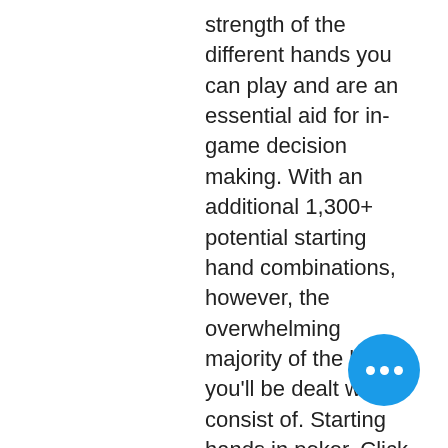strength of the different hands you can play and are an essential aid for in-game decision making. With an additional 1,300+ potential starting hand combinations, however, the overwhelming majority of the hands you'll be dealt will consist of. Starting hands in poker. Click on each hole card combination to read more about when to exactly play that hand This is the best starting hand in hold'em poker and can be played from any position- early, middle and late positions. Not all 169 starting hands occur with the same frequency because the number of combinations required to produce each unique starting hand differs. Group 1: aa, kk. These two starting hands are the major players in hold'em. Group 2: qq, jj, aks. (the individual suit) of the hole cards, there are only 169 possible hand combinations. These are considered as strong starting hands combination is considered strong because
[Figure (other): Blue circular FAB button with three white dots (ellipsis/more options icon)]